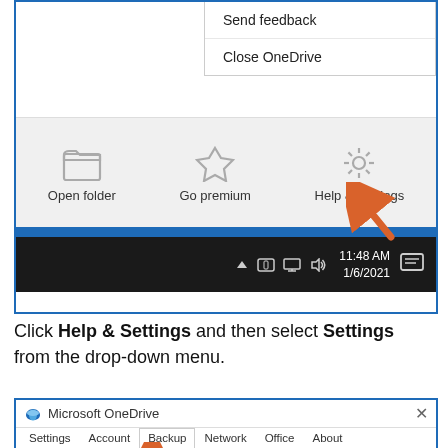[Figure (screenshot): Windows OneDrive popup showing dropdown menu with 'Send feedback' and 'Close OneDrive' options, bottom toolbar with Open folder, Go premium, Help & Settings icons, Windows taskbar with time 11:48 AM 1/6/2021, and an orange arrow pointing to Help & Settings gear icon.]
Click Help & Settings and then select Settings from the drop-down menu.
[Figure (screenshot): Microsoft OneDrive settings dialog showing tabs: Settings, Account, Backup (active), Network, Office, About. Below tabs shows 'Important PC Folders' section with an orange arrow pointing to the Backup tab.]